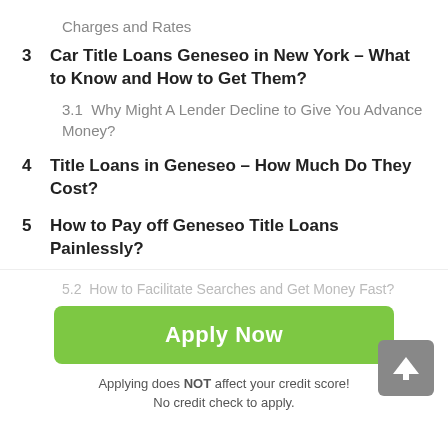Charges and Rates
3  Car Title Loans Geneseo in New York – What to Know and How to Get Them?
3.1  Why Might A Lender Decline to Give You Advance Money?
4  Title Loans in Geneseo – How Much Do They Cost?
5  How to Pay off Geneseo Title Loans Painlessly?
5.1  Some Bad Alternatives to Steer Clear
5.2  How to Facilitate Searches and Get Money Fast?
Apply Now
Applying does NOT affect your credit score! No credit check to apply.